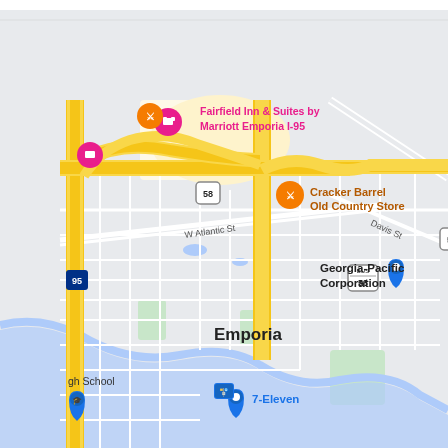[Figure (map): Google Maps view of Emporia, Virginia showing I-95 interchange area with Route 58, featuring labeled landmarks: Fairfield Inn & Suites by Marriott Emporia I-95, Cracker Barrel Old Country Store, Georgia-Pacific Corporation, 7-Eleven, and a high school. Major roads include I-95 (vertical yellow), Route 58, W Atlantic St, and Davis St. A river winds through the lower portion of the map.]